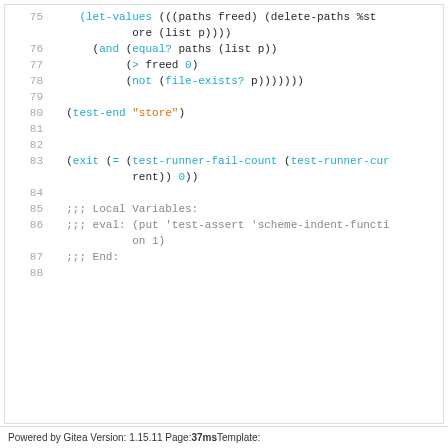[Figure (screenshot): Code editor showing Scheme/Lisp source lines 75–88 with syntax highlighting. Lines include let-values, and, equal?, not, file-exists?, test-end, exit, test-runner-fail-count, test-runner-current, and local variable comments.]
Powered by Gitea Version: 1.15.11 Page: 37ms Template: